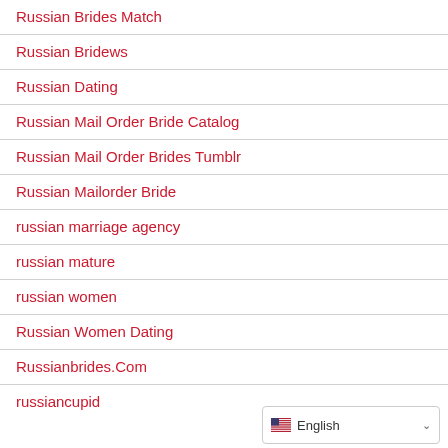Russian Brides Match
Russian Bridews
Russian Dating
Russian Mail Order Bride Catalog
Russian Mail Order Brides Tumblr
Russian Mailorder Bride
russian marriage agency
russian mature
russian women
Russian Women Dating
Russianbrides.Com
russiancupid